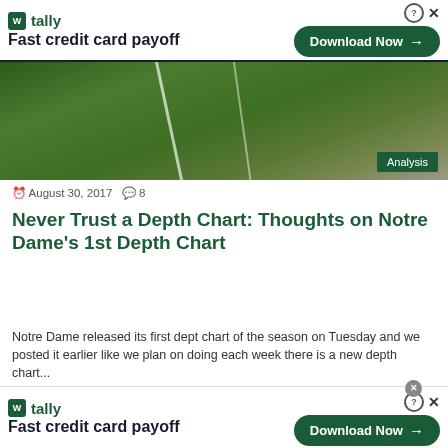[Figure (screenshot): Tally app advertisement banner at top: logo with green square icon, 'tally' name, 'Fast credit card payoff' tagline, and green 'Download Now' button with arrow. Help circle and X close icons visible.]
[Figure (photo): Football field photo showing a player on a green grass field with white yard lines visible. 'Analysis' badge in bottom right corner.]
August 30, 2017  8
Never Trust a Depth Chart: Thoughts on Notre Dame's 1st Depth Chart
Notre Dame released its first dept chart of the season on Tuesday and we posted it earlier like we plan on doing each week there is a new depth chart...
Read More »
[Figure (screenshot): Tally app advertisement banner at bottom: same as top with logo, 'Fast credit card payoff' tagline, 'Download Now' green button. Gray close circle and X icons visible at top right.]